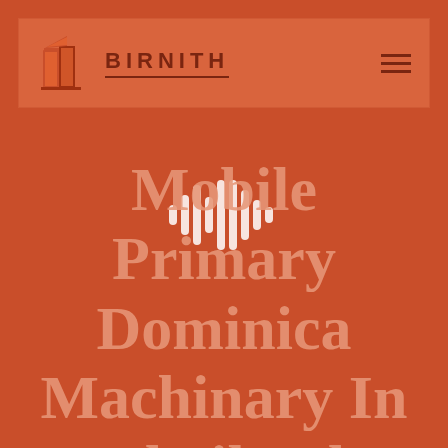[Figure (screenshot): Birnith website header with logo (orange building icon), brand name BIRNITH, and hamburger menu icon on an orange/coral background]
[Figure (other): Audio waveform / equalizer icon in white, centered over the title text]
Mobile Primary Dominica Machinary In Thailand